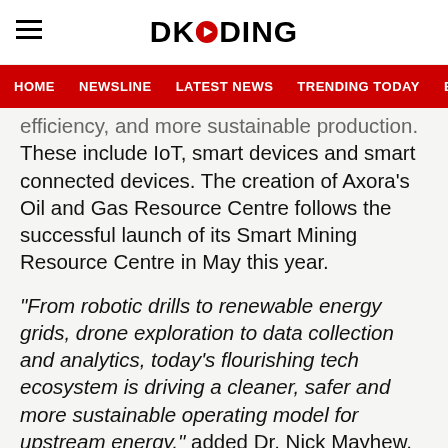DKODING
HOME  NEWSLINE  LATEST NEWS  TRENDING TODAY  ENT
efficiency, and more sustainable production. These include IoT, smart devices and smart connected devices. The creation of Axora's Oil and Gas Resource Centre follows the successful launch of its Smart Mining Resource Centre in May this year.
“From robotic drills to renewable energy grids, drone exploration to data collection and analytics, today’s flourishing tech ecosystem is driving a cleaner, safer and more sustainable operating model for upstream energy,” added Dr. Nick Mayhew, Chief Commercial Officer, Axora. “Companies which act now to improve their technology solutions